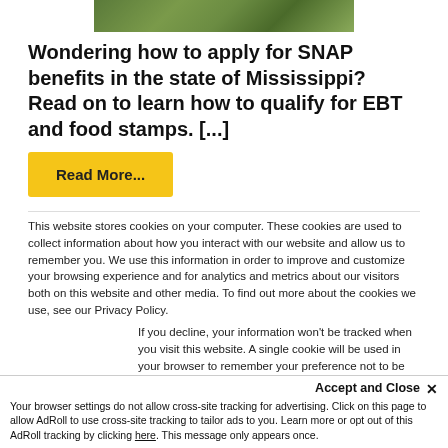[Figure (photo): Partial image of outdoor scene with trees/greenery at top of page]
Wondering how to apply for SNAP benefits in the state of Mississippi? Read on to learn how to qualify for EBT and food stamps. [...]
Read More...
This website stores cookies on your computer. These cookies are used to collect information about how you interact with our website and allow us to remember you. We use this information in order to improve and customize your browsing experience and for analytics and metrics about our visitors both on this website and other media. To find out more about the cookies we use, see our Privacy Policy.
If you decline, your information won't be tracked when you visit this website. A single cookie will be used in your browser to remember your preference not to be tracked.
Accept and Close ×
Your browser settings do not allow cross-site tracking for advertising. Click on this page to allow AdRoll to use cross-site tracking to tailor ads to you. Learn more or opt out of this AdRoll tracking by clicking here. This message only appears once.